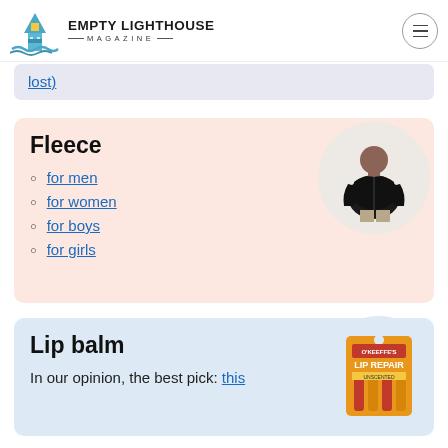EMPTY LIGHTHOUSE MAGAZINE
lost)
Fleece
for men
for women
for boys
for girls
[Figure (photo): Person wearing a black fleece jacket, circular cropped image]
Lip balm
In our opinion, the best pick: this
[Figure (photo): O'Keeffe's Lip Repair lip balm multi-pack in orange packaging, circular cropped image]